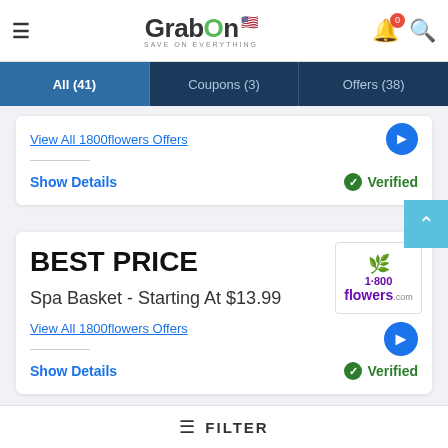GrabOn - SAVE ON EVERYTHING
All (41) | Coupons (3) | Offers (38)
View All 1800flowers Offers
Show Details   Verified
BEST PRICE
Spa Basket - Starting At $13.99
View All 1800flowers Offers
Show Details   Verified
FILTER